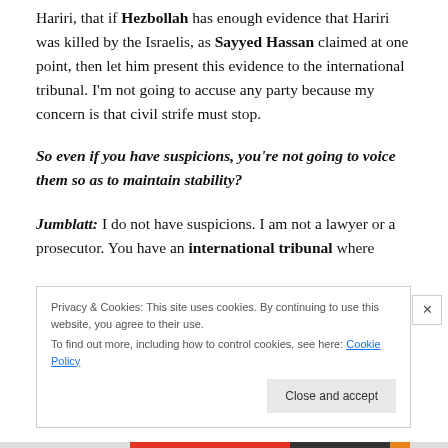Hariri, that if Hezbollah has enough evidence that Hariri was killed by the Israelis, as Sayyed Hassan claimed at one point, then let him present this evidence to the international tribunal. I'm not going to accuse any party because my concern is that civil strife must stop.
So even if you have suspicions, you're not going to voice them so as to maintain stability?
Jumblatt: I do not have suspicions. I am not a lawyer or a prosecutor. You have an international tribunal where
Privacy & Cookies: This site uses cookies. By continuing to use this website, you agree to their use.
To find out more, including how to control cookies, see here: Cookie Policy